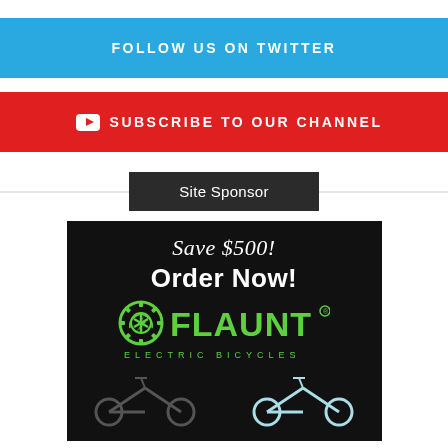FOLLOW US ON TWITTER
SUBSCRIBE TO OUR CHANNEL
Site Sponsor
[Figure (illustration): Flaunt Electric Bicycles advertisement showing 'Save $500! Order Now!' with the Flaunt Electric Bicycles logo and two electric bicycles on a black background.]